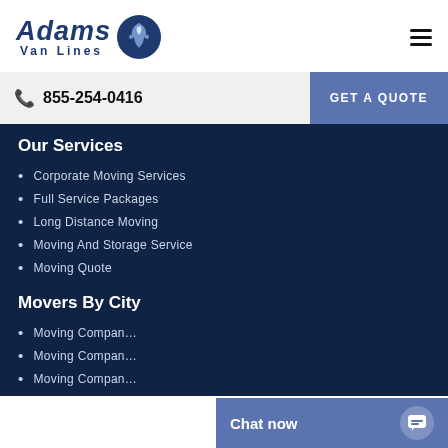[Figure (logo): Adams Van Lines logo with eagle icon in dark navy blue]
855-254-0416
GET A QUOTE
Our Services
Corporate Moving Services
Full Service Packages
Long Distance Moving
Moving And Storage Service
Moving Quote
Movers By City
Moving Compan...
Moving Compan...
Moving Compan...
Chat now